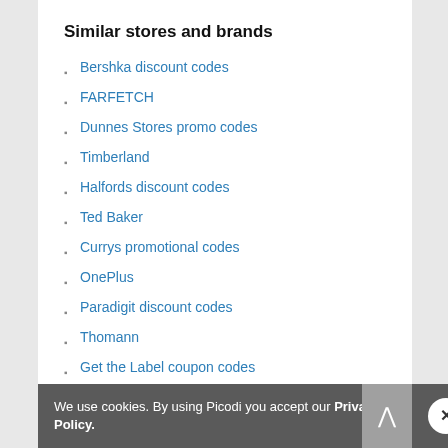Similar stores and brands
Bershka discount codes
FARFETCH
Dunnes Stores promo codes
Timberland
Halfords discount codes
Ted Baker
Currys promotional codes
OnePlus
Paradigit discount codes
Thomann
Get the Label coupon codes
Boohoo
Craghoppers promo codes
ASOS
We use cookies. By using Picodi you accept our Privacy Policy.